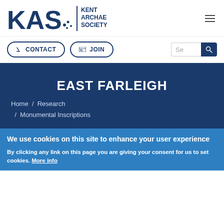[Figure (logo): KAS Kent Archaeological Society logo with stylized KAS text and trowel icon, dark blue color]
[Figure (illustration): Hamburger menu icon (three horizontal lines)]
CONTACT
JOIN
Se
EAST FARLEIGH
Home / Research / Monumental Inscriptions
We use cookies on this site to enhance your user experience
By clicking any link on this page you are giving your consent for us to set cookies. More info